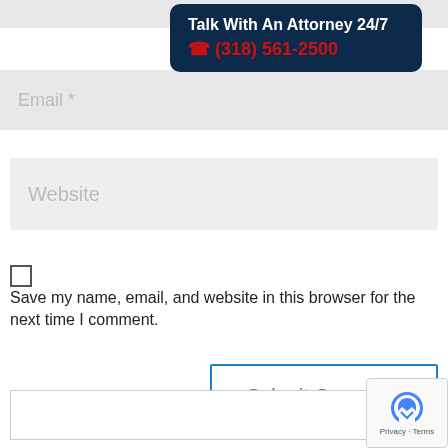[Figure (infographic): Attorney contact banner with dark navy background showing 'Talk With An Attorney 24/7' and phone number '(318) 561-2500' in red]
Email *
Website
Save my name, email, and website in this browser for the next time I comment.
Submit Comment
Sear